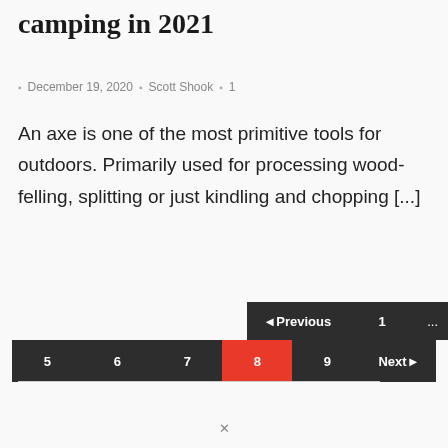camping in 2021
December 19, 2020   Scott Shook   1
An axe is one of the most primitive tools for outdoors. Primarily used for processing wood-felling, splitting or just kindling and chopping [...]
◄ Previous   1   ...   5   6   7   8   9   Next ►